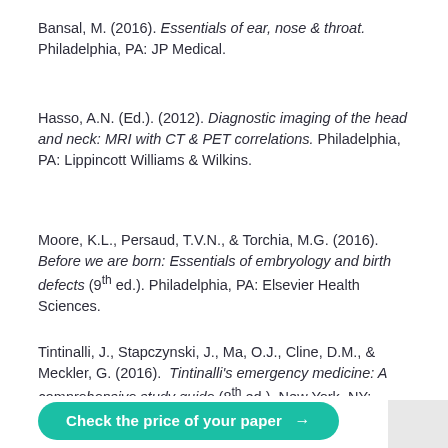Bansal, M. (2016). Essentials of ear, nose & throat. Philadelphia, PA: JP Medical.
Hasso, A.N. (Ed.). (2012). Diagnostic imaging of the head and neck: MRI with CT & PET correlations. Philadelphia, PA: Lippincott Williams & Wilkins.
Moore, K.L., Persaud, T.V.N., & Torchia, M.G. (2016). Before we are born: Essentials of embryology and birth defects (9th ed.). Philadelphia, PA: Elsevier Health Sciences.
Tintinalli, J., Stapczynski, J., Ma, O.J., Cline, D.M., & Meckler, G. (2016). Tintinalli's emergency medicine: A comprehensive study guide (8th ed.). New York, NY: McGraw Hill Professional.